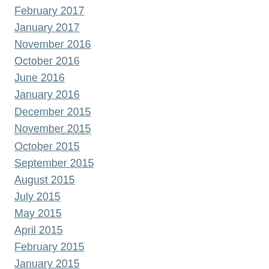February 2017
January 2017
November 2016
October 2016
June 2016
January 2016
December 2015
November 2015
October 2015
September 2015
August 2015
July 2015
May 2015
April 2015
February 2015
January 2015
September 2014
August 2014
July 2014